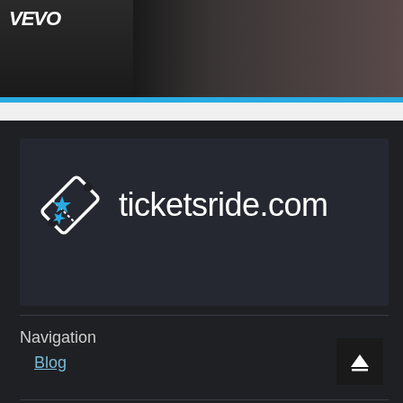[Figure (screenshot): Top portion showing vevo logo/watermark on dark background with a person's face partially visible]
[Figure (logo): ticketsride.com logo with ticket icon on dark background]
Navigation
Blog